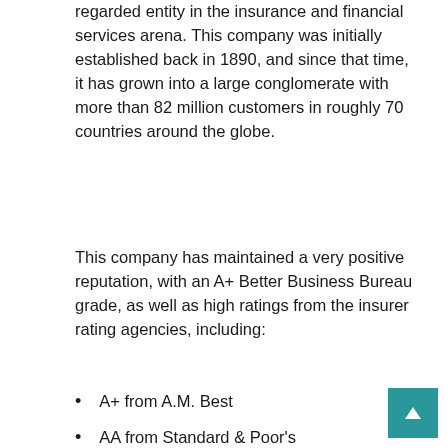regarded entity in the insurance and financial services arena. This company was initially established back in 1890, and since that time, it has grown into a large conglomerate with more than 82 million customers in roughly 70 countries around the globe.
This company has maintained a very positive reputation, with an A+ Better Business Bureau grade, as well as high ratings from the insurer rating agencies, including:
A+ from A.M. Best
AA from Standard & Poor's